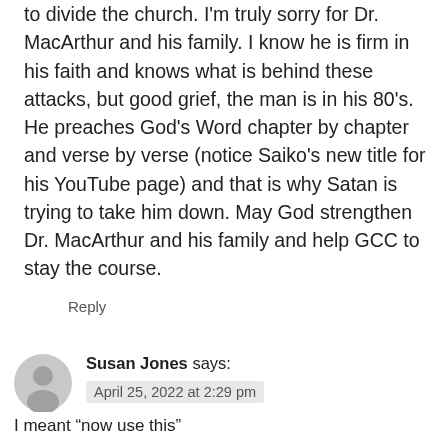to divide the church. I'm truly sorry for Dr. MacArthur and his family. I know he is firm in his faith and knows what is behind these attacks, but good grief, the man is in his 80's. He preaches God's Word chapter by chapter and verse by verse (notice Saiko's new title for his YouTube page) and that is why Satan is trying to take him down. May God strengthen Dr. MacArthur and his family and help GCC to stay the course.
Reply
[Figure (illustration): Gray circular avatar/user icon placeholder]
Susan Jones says:
April 25, 2022 at 2:29 pm
I meant “now use this”